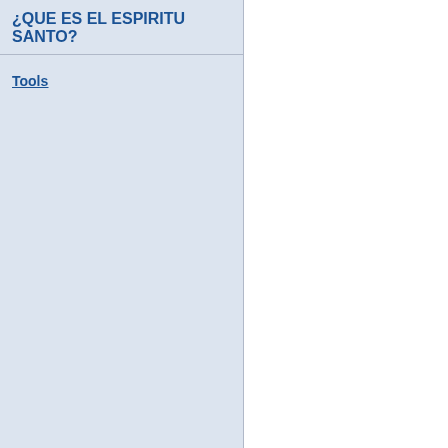¿QUE ES EL ESPIRITU SANTO?
Tools
First  Previous  7 to 21 of 21  Next
| Reply |  |
| --- | --- |
| From: BARILOCHENSE6999 |  |
| Reply |  |
| --- | --- |
| From: BARILOCHENSE6999 |  |